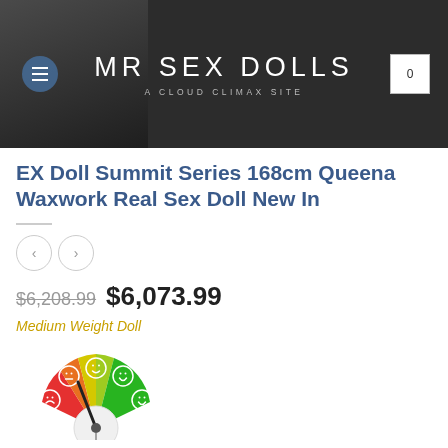[Figure (screenshot): MR SEX DOLLS website header with dark background, hamburger menu, site title 'MR SEX DOLLS / A CLOUD CLIMAX SITE', and cart icon showing 0]
EX Doll Summit Series 168cm Queena Waxwork Real Sex Doll New In
$6,208.99  $6,073.99
Medium Weight Doll
[Figure (infographic): Semicircular gauge/speedometer showing weight difficulty level, ranging from red (hard/sad face) on left through yellow/orange (medium/neutral face) in center to green (easy/happy face) on right. Needle points to center-left yellow zone.]
Now Released for sale!